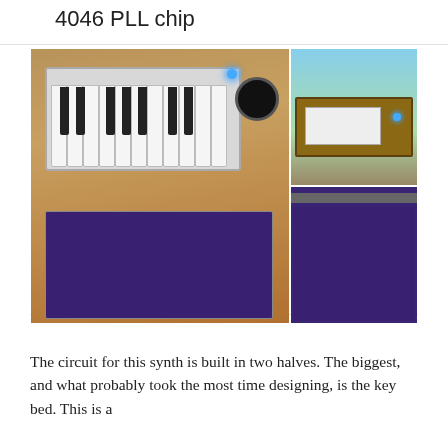4046 PLL chip
[Figure (photo): Four photos of a DIY synthesizer: main large photo showing open synth enclosure with keyboard panel and purple PCB with green components on a wooden surface; top-right photo showing the closed synth enclosure outdoors on a rooftop; bottom-right photo showing a closeup of the purple PCB with green LEDs and blue capacitors.]
The circuit for this synth is built in two halves. The biggest, and what probably took the most time designing, is the key bed. This is a